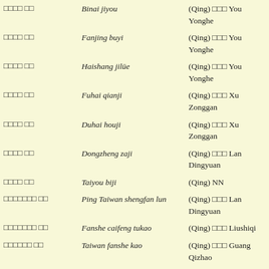| Chinese | Romanization | Attribution |
| --- | --- | --- |
| □□□□ □□ | Binai jiyou | (Qing) □□□ You Yonghe |
| □□□□ □□ | Fanjing buyi | (Qing) □□□ You Yonghe |
| □□□□ □□ | Haishang jilüe | (Qing) □□□ You Yonghe |
| □□□□ □□ | Fuhai qianji | (Qing) □□□ Xu Zonggan |
| □□□□ □□ | Duhai houji | (Qing) □□□ Xu Zonggan |
| □□□□ □□ | Dongzheng zaji | (Qing) □□□ Lan Dingyuan |
| □□□□ □□ | Taiyou biji | (Qing) NN |
| □□□□□□□ □□ | Ping Taiwan shengfan lun | (Qing) □□□ Lan Dingyuan |
| □□□□□□□ □□ | Fanshe caifeng tukao | (Qing) □□□ Liushiqi |
| □□□□□□ □□ | Taiwan fanshe kao | (Qing) □□□ Guang Qizhao |
| □□□□□ □□ | Puli she jilüe | (Qing) □□ Yao Ying |
| □□□□□□□ □□ | Dongxi shishe fan ji | (Qing) □□ Yao Ying |
| □□□□□ □□ | Taibei daoli ji | (Qing) □□ Yao Ying |
| □□□□□ □□ | Gamalan jilüe | (Qing) □□ Yao Ying |
| □□□□ □□ | Penghu jilüe | (Qing) □□□ Lin |